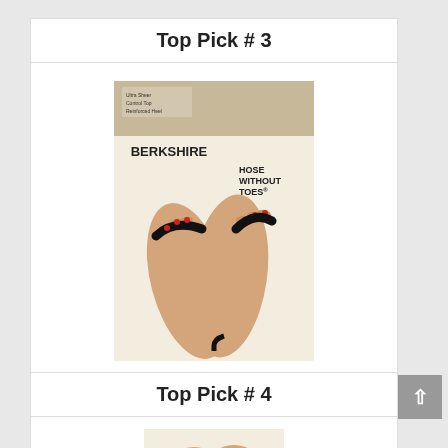Top Pick # 3
[Figure (photo): Product photo of Berkshire Hose Without Toes hosiery packaging showing feet in sandals]
Berkshire Ultra Sheer Hose without Toes Hosiery
Buy on Amazon
Top Pick # 4